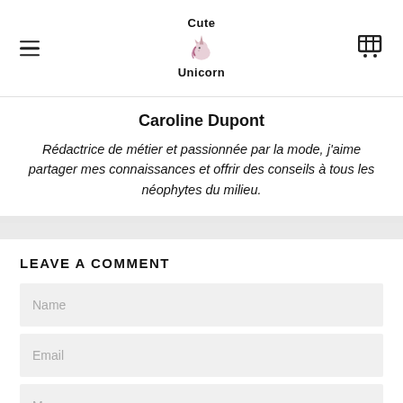Cute Unicorn
Caroline Dupont
Rédactrice de métier et passionnée par la mode, j'aime partager mes connaissances et offrir des conseils à tous les néophytes du milieu.
LEAVE A COMMENT
Name
Email
Message
ERROR fo
Invalid do